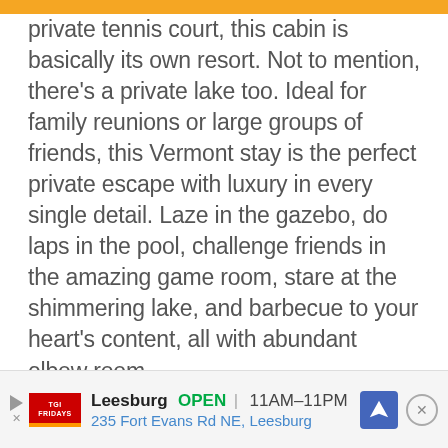private tennis court, this cabin is basically its own resort. Not to mention, there's a private lake too. Ideal for family reunions or large groups of friends, this Vermont stay is the perfect private escape with luxury in every single detail. Laze in the gazebo, do laps in the pool, challenge friends in the amazing game room, stare at the shimmering lake, and barbecue to your heart's content, all with abundant elbow room.
[Figure (other): Advertisement banner for TGI Fridays Leesburg location. Shows play button icon, TGI Fridays logo, store name 'Leesburg', open status 'OPEN', hours '11AM-11PM', address '235 Fort Evans Rd NE, Leesburg', navigation arrow icon, and close button.]